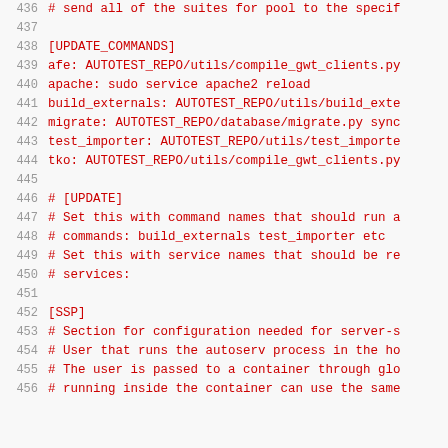436  # send all of the suites for pool to the specif
437
438  [UPDATE_COMMANDS]
439  afe: AUTOTEST_REPO/utils/compile_gwt_clients.py
440  apache: sudo service apache2 reload
441  build_externals: AUTOTEST_REPO/utils/build_exte
442  migrate: AUTOTEST_REPO/database/migrate.py sync
443  test_importer: AUTOTEST_REPO/utils/test_importe
444  tko: AUTOTEST_REPO/utils/compile_gwt_clients.py
445
446  # [UPDATE]
447  # Set this with command names that should run a
448  # commands: build_externals test_importer etc
449  # Set this with service names that should be re
450  # services:
451
452  [SSP]
453  # Section for configuration needed for server-s
454  # User that runs the autoserv process in the ho
455  # The user is passed to a container through glo
456  # running inside the container can use the same